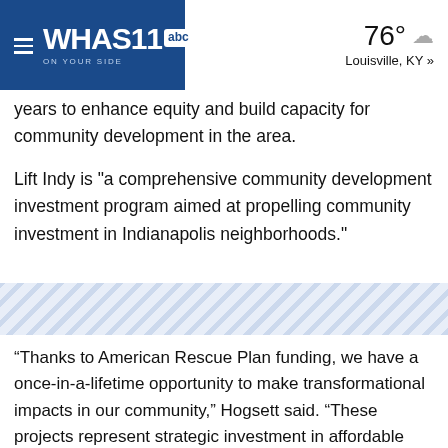WHAS11 abc | ON YOUR SIDE | 76° Louisville, KY »
years to enhance equity and build capacity for community development in the area.
Lift Indy is "a comprehensive community development investment program aimed at propelling community investment in Indianapolis neighborhoods."
[Figure (other): Diagonal stripe decorative divider band]
“Thanks to American Rescue Plan funding, we have a once-in-a-lifetime opportunity to make transformational impacts in our community,” Hogsett said. “These projects represent strategic investment in affordable housing, food access, and education—the types of improvements that elevate our neighborhoods and improve the quality of life for Indianapolis residents.”